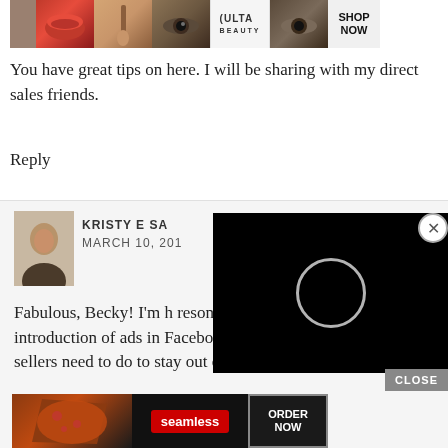[Figure (screenshot): ULTA beauty advertisement banner showing makeup images (lips, brush, eyes) and SHOP NOW button]
You have great tips on here. I will be sharing with my direct sales friends.
Reply
[Figure (photo): Profile photo of Kristy E S, a woman in dark top]
KRISTY E SA
MARCH 10, 201
Fabulous, Becky! I'm h resonated with you. With the introduction of ads in Facebook Groups and the things direct sellers need to do to stay out of Facebook jail,
[Figure (screenshot): Black video player overlay with white circular loading indicator]
CLOSE
[Figure (screenshot): Seamless food delivery advertisement with pizza image and ORDER NOW button]